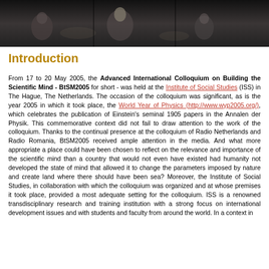[Figure (photo): Dark photograph showing people/figures on a stage or at an event, used as a decorative header strip]
Introduction
From 17 to 20 May 2005, the Advanced International Colloquium on Building the Scientific Mind - BtSM2005 for short - was held at the Institute of Social Studies (ISS) in The Hague, The Netherlands. The occasion of the colloquium was significant, as is the year 2005 in which it took place, the World Year of Physics (http://www.wyp2005.org/), which celebrates the publication of Einstein's seminal 1905 papers in the Annalen der Physik. This commemorative context did not fail to draw attention to the work of the colloquium. Thanks to the continual presence at the colloquium of Radio Netherlands and Radio Romania, BtSM2005 received ample attention in the media. And what more appropriate a place could have been chosen to reflect on the relevance and importance of the scientific mind than a country that would not even have existed had humanity not developed the state of mind that allowed it to change the parameters imposed by nature and create land where there should have been sea? Moreover, the Institute of Social Studies, in collaboration with which the colloquium was organized and at whose premises it took place, provided a most adequate setting for the colloquium. ISS is a renowned transdisciplinary research and training institution with a strong focus on international development issues and with students and faculty from around the world. In a context in